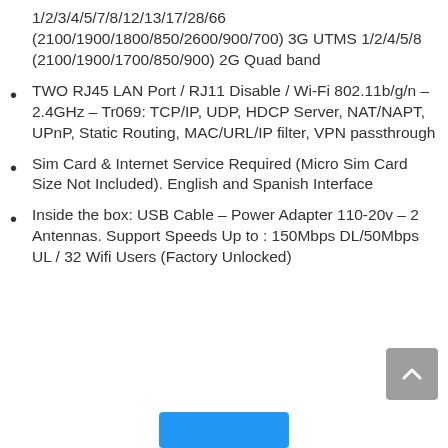1/2/3/4/5/7/8/12/13/17/28/66 (2100/1900/1800/850/2600/900/700) 3G UTMS 1/2/4/5/8 (2100/1900/1700/850/900) 2G Quad band
TWO RJ45 LAN Port / RJ11 Disable / Wi-Fi 802.11b/g/n – 2.4GHz – Tr069: TCP/IP, UDP, HDCP Server, NAT/NAPT, UPnP, Static Routing, MAC/URL/IP filter, VPN passthrough
Sim Card & Internet Service Required (Micro Sim Card Size Not Included). English and Spanish Interface
Inside the box: USB Cable – Power Adapter 110-20v – 2 Antennas. Support Speeds Up to : 150Mbps DL/50Mbps UL / 32 Wifi Users (Factory Unlocked)